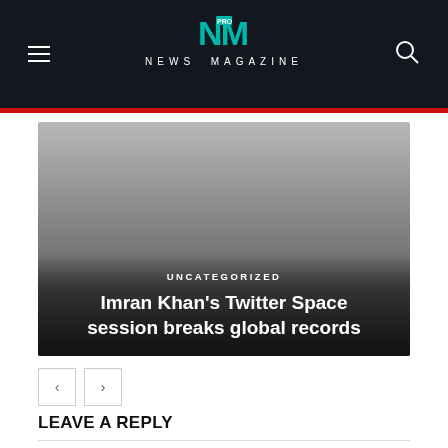NEWS MAGAZINE
[Figure (screenshot): Hero image with gradient background showing article thumbnail with category label UNCATEGORIZED and headline text]
UNCATEGORIZED
Imran Khan’s Twitter Space session breaks global records
< >
LEAVE A REPLY